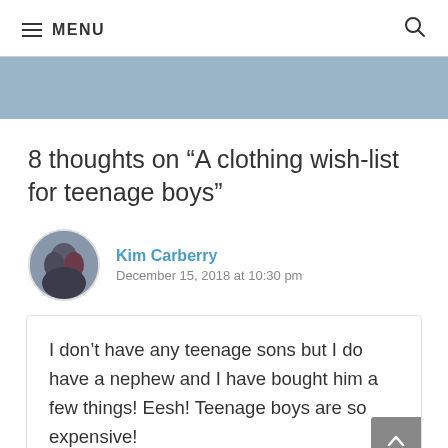≡ MENU 🔍
[Figure (illustration): Light blue banner/header image area]
8 thoughts on “A clothing wish-list for teenage boys”
Kim Carberry
December 15, 2018 at 10:30 pm
I don’t have any teenage sons but I do have a nephew and I have bought him a few things! Eesh! Teenage boys are so expensive!